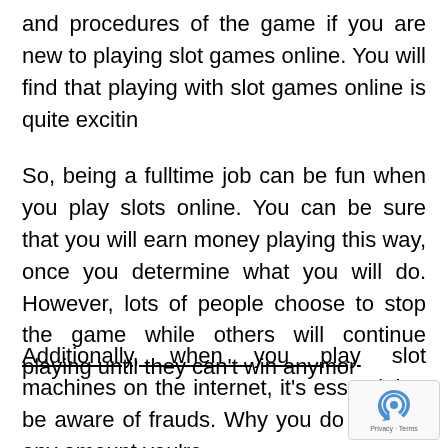and procedures of the game if you are new to playing slot games online. You will find that playing with slot games online is quite excitin
So, being a fulltime job can be fun when you play slots online. You can be sure that you will earn money playing this way, once you determine what you will do. However, lots of people choose to stop the game while others will continue playing until they can't win anymor
Additionally, when you play slot machines on the internet, it's essential to be aware of frauds. Why you do not find any amount you're